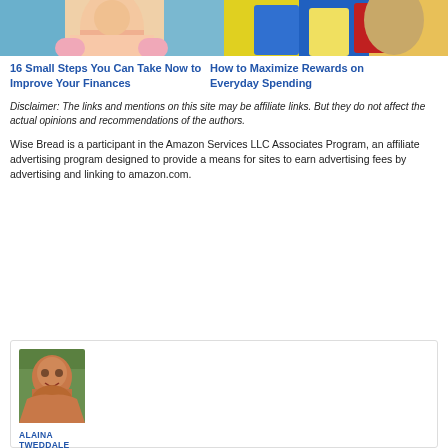[Figure (photo): Two photos side by side: left shows a woman in pink cardigan on blue background, right shows a person holding colorful shopping bags]
16 Small Steps You Can Take Now to Improve Your Finances
How to Maximize Rewards on Everyday Spending
Disclaimer: The links and mentions on this site may be affiliate links. But they do not affect the actual opinions and recommendations of the authors.
Wise Bread is a participant in the Amazon Services LLC Associates Program, an affiliate advertising program designed to provide a means for sites to earn advertising fees by advertising and linking to amazon.com.
[Figure (photo): Headshot photo of Alaina Tweddale, a woman with red/auburn hair, smiling]
ALAINA TWEDDALE